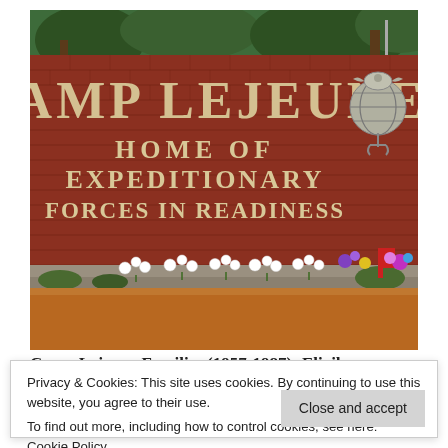[Figure (photo): Photograph of the Camp Lejeune entrance sign on a red brick wall reading 'CAMP LEJEUNE HOME OF EXPEDITIONARY FORCES IN READINESS' with Marine Corps emblem on right, white flower tributes arranged at the base of the wall, trees in background, and reddish-brown ground]
Camp Lejeune Families (1957-1987): Eligible...
Privacy & Cookies: This site uses cookies. By continuing to use this website, you agree to their use.
To find out more, including how to control cookies, see here: Cookie Policy